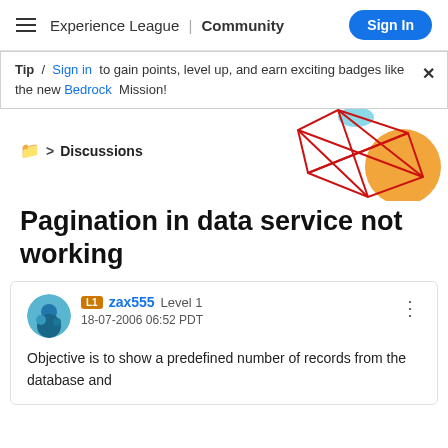Experience League | Community  Sign In
Tip / Sign in to gain points, level up, and earn exciting badges like the new Bedrock Mission!
[Figure (illustration): Decorative geometric red diamond/crystal wireframe shape with an orange circle behind it, on white background]
📁 > Discussions
Pagination in data service not working
zax555  Level 1
18-07-2006 06:52 PDT

Objective is to show a predefined number of records from the
database and